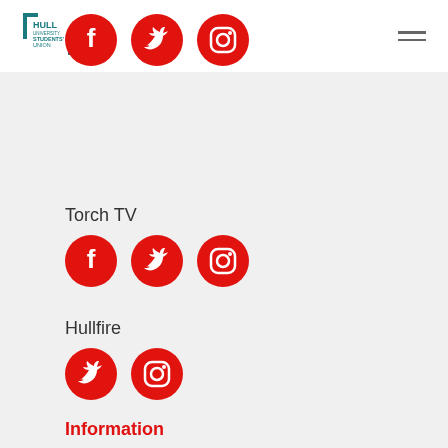[Figure (logo): Hull University Students Union logo in teal/blue with bracket design]
[Figure (infographic): Hamburger menu icon (three horizontal lines)]
[Figure (infographic): Three red circular social media icons: Facebook, Twitter, Instagram]
Torch TV
[Figure (infographic): Three red circular social media icons: Facebook, Twitter, Instagram for Torch TV]
Hullfire
[Figure (infographic): Two red circular social media icons: Twitter, Instagram for Hullfire]
Information